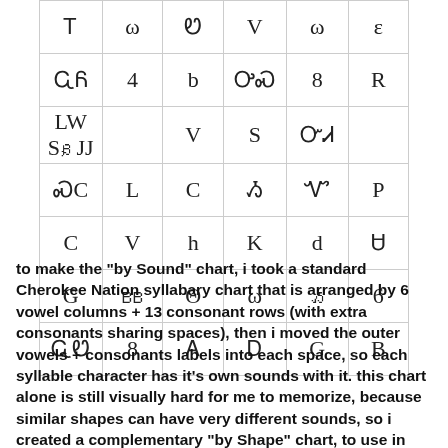[Figure (table-as-image): Partial Cherokee syllabary chart showing syllable characters arranged in a grid with 6 columns and 7 visible rows]
to make the "by Sound" chart, i took a standard Cherokee Nation syllabary chart that is arranged by 6 vowel columns + 13 consonant rows (with extra consonants sharing spaces), then i moved the outer vowels + consonants labels into each space, so each syllable character has it's own sounds with it. this chart alone is still visually hard for me to memorize, because similar shapes can have very different sounds, so i created a complementary "by Shape" chart, to use in addition.